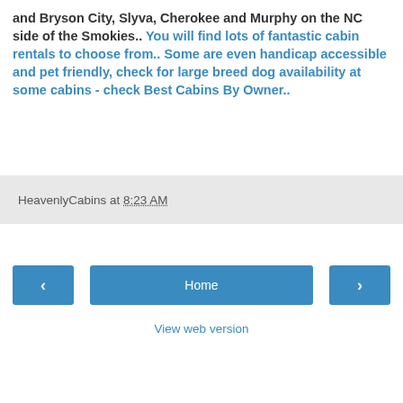and Bryson City, Slyva, Cherokee and Murphy on the NC side of the Smokies.. You will find lots of fantastic cabin rentals to choose from.. Some are even handicap accessible and pet friendly, check for large breed dog availability at some cabins - check Best Cabins By Owner..
HeavenlyCabins at 8:23 AM
Home
View web version